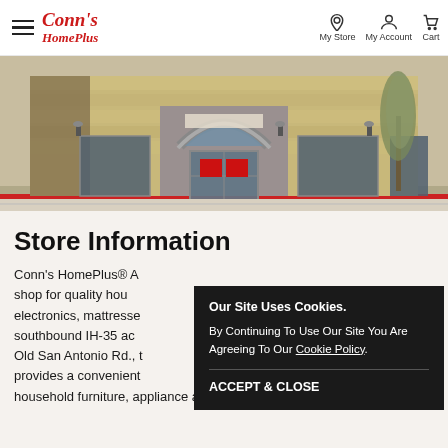Conn's HomePlus — My Store | My Account | Cart
[Figure (photo): Exterior photo of a Conn's HomePlus retail store with stone facade, arched entrance, and glass storefront]
Store Information
Conn's HomePlus® A... shop for quality household electronics, mattresses... southbound IH-35 acc... Old San Antonio Rd., the... provides a convenient... household furniture, appliance and electronics needs.
Our Site Uses Cookies. By Continuing To Use Our Site You Are Agreeing To Our Cookie Policy. ACCEPT & CLOSE